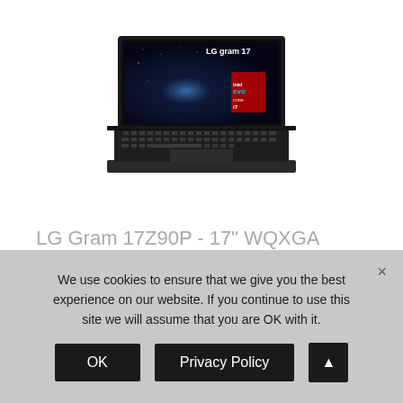[Figure (photo): Photo of LG Gram 17 laptop open, showing a dark galaxy/space wallpaper on screen with LG gram 17 branding and Intel Evo badge visible.]
LG Gram 17Z90P - 17" WQXGA (2560x1600) Ultra-Lightweight Laptop, Intel evo...
We use cookies to ensure that we give you the best experience on our website. If you continue to use this site we will assume that you are OK with it.